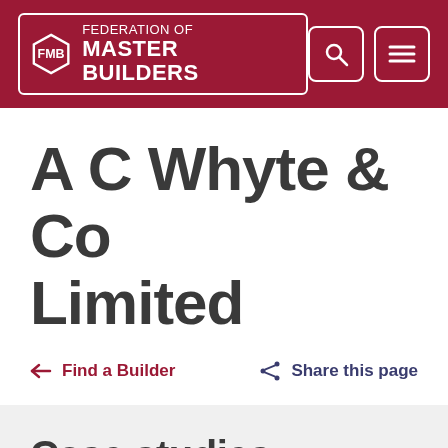FEDERATION OF MASTER BUILDERS
A C Whyte & Co Limited
← Find a Builder
Share this page
Case studies